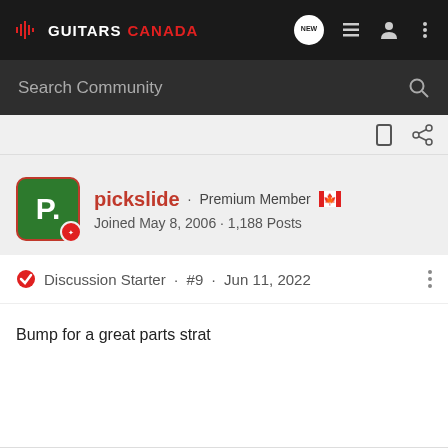GUITARS CANADA — navigation bar with search
Search Community
Discussion Starter · #9 · Jun 11, 2022
pickslide · Premium Member
Joined May 8, 2006 · 1,188 Posts
Bump for a great parts strat